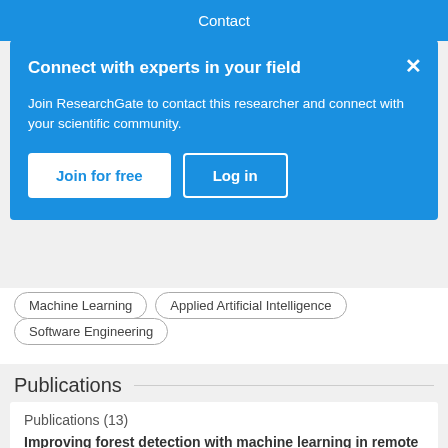Contact
Connect with experts in your field
Join ResearchGate to contact this researcher and connect with your scientific community.
Join for free   Log in
Machine Learning
Applied Artificial Intelligence
Software Engineering
Publications
Publications (13)
Improving forest detection with machine learning in remote